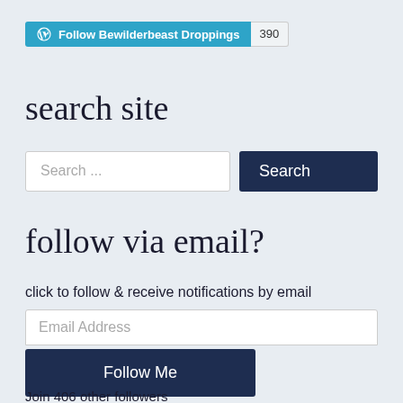[Figure (other): WordPress Follow button for 'Bewilderbeast Droppings' with count badge showing 390]
search site
[Figure (other): Search input field with placeholder 'Search ...' and a dark navy Search button]
follow via email?
click to follow & receive notifications by email
[Figure (other): Email address input field and Follow Me button]
Join 406 other followers